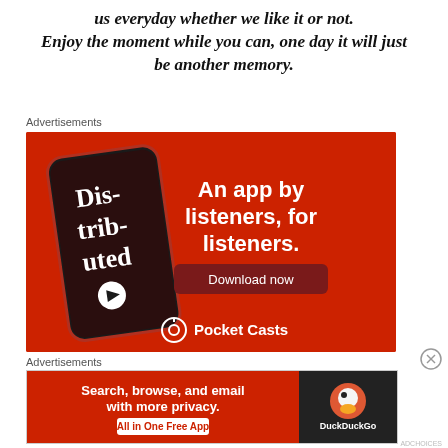us everyday whether we like it or not.
Enjoy the moment while you can, one day it will just be another memory.
Advertisements
[Figure (photo): Pocket Casts advertisement: red background with a phone showing 'Dis-trib-uted' podcast app. Text: 'An app by listeners, for listeners.' with a 'Download now' button and Pocket Casts logo at bottom.]
Advertisements
[Figure (photo): DuckDuckGo advertisement: red left panel with text 'Search, browse, and email with more privacy. All in One Free App.' Dark right panel with DuckDuckGo logo and brand name.]